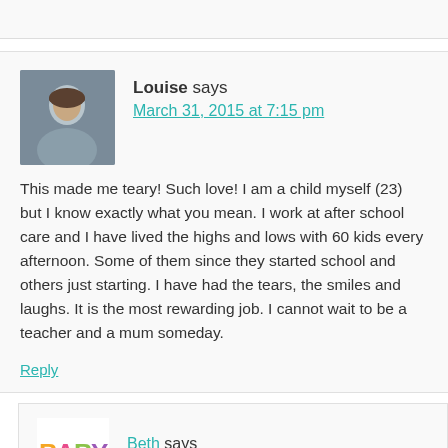Louise says
March 31, 2015 at 7:15 pm
This made me teary! Such love! I am a child myself (23) but I know exactly what you mean. I work at after school care and I have lived the highs and lows with 60 kids every afternoon. Some of them since they started school and others just starting. I have had the tears, the smiles and laughs. It is the most rewarding job. I cannot wait to be a teacher and a mum someday.
Reply
Beth says
April 6, 2015 at 8:31 am